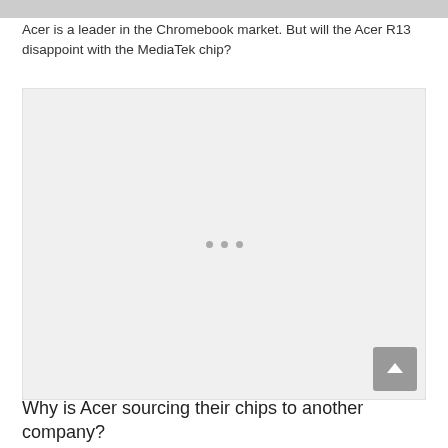[Figure (photo): Top portion of a photo, partially cut off at the top of the page]
Acer is a leader in the Chromebook market. But will the Acer R13 disappoint with the MediaTek chip?
[Figure (other): Advertisement placeholder box with three dots in the center and a scroll-to-top button in the bottom right corner]
Why is Acer sourcing their chips to another company?